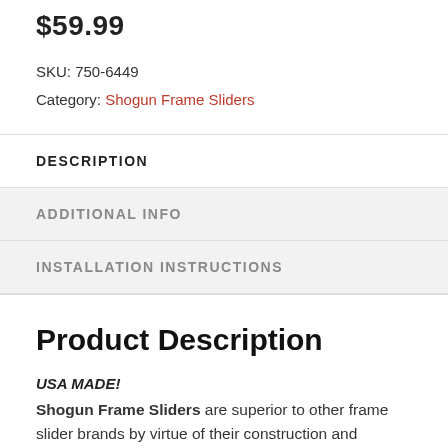$59.99
SKU: 750-6449
Category: Shogun Frame Sliders
DESCRIPTION
ADDITIONAL INFO
INSTALLATION INSTRUCTIONS
Product Description
USA MADE!
Shogun Frame Sliders are superior to other frame slider brands by virtue of their construction and material. Shogun pucks are made of shatter-proof